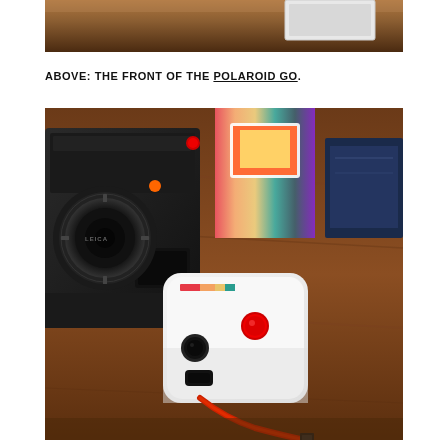[Figure (photo): Top portion of a photo showing what appears to be a wooden surface with a white device partially visible, cropped at top of page]
ABOVE: THE FRONT OF THE POLAROID GO.
[Figure (photo): Photo showing a white Polaroid Go instant camera with rainbow stripe detail and red shutter button, placed on a wooden surface next to a black Leica camera. A colorful Polaroid film box is visible in the background along with a dark navy blue box. A red wrist strap is attached to the Polaroid Go.]